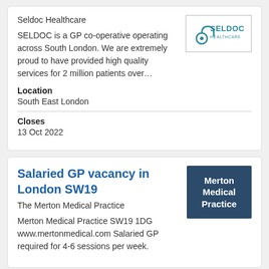Seldoc Healthcare
[Figure (logo): Seldoc Healthcare logo with stethoscope icon and SELDOC HEALTHCARE text]
SELDOC is a GP co-operative operating across South London. We are extremely proud to have provided high quality services for 2 million patients over…
Location
South East London
Closes
13 Oct 2022
Salaried GP vacancy in London SW19
[Figure (logo): Merton Medical Practice logo – dark navy blue square with white bold text]
The Merton Medical Practice
Merton Medical Practice SW19 1DG www.mertonmedical.com Salaried GP required for 4-6 sessions per week.